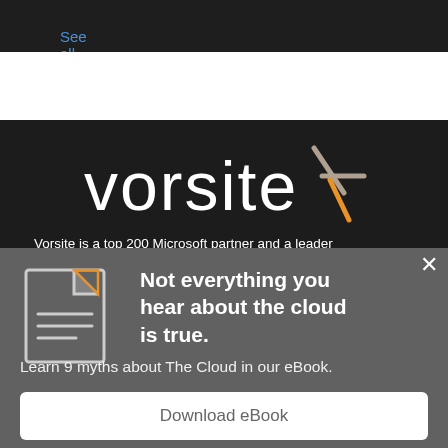See all
[Figure (logo): Vorsite logo with stylized arrow/cross symbol in orange and grey on dark background]
Vorsite is a top 200 Microsoft partner and a leader
Not everything you hear about the cloud is true.
Learn 9 myths about The Cloud in our eBook.
Download eBook